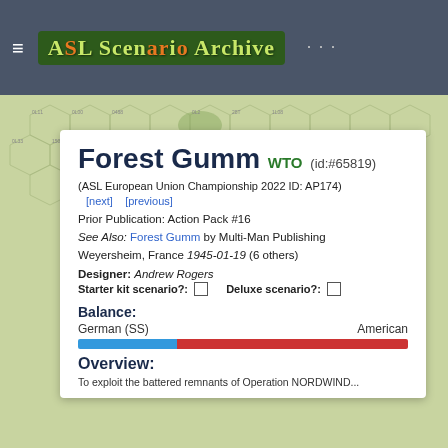ASL Scenario Archive
[Figure (illustration): Hexagonal wargame map background with terrain tiles showing fields, roads, and buildings in muted green and tan tones]
Forest Gumm WTO (id:#65819)
(ASL European Union Championship 2022 ID: AP174)
[next]   [previous]
Prior Publication: Action Pack #16
See Also: Forest Gumm by Multi-Man Publishing
Weyersheim, France 1945-01-19 (6 others)
Designer: Andrew Rogers
Starter kit scenario?: ☐   Deluxe scenario?: ☐
Balance:
German (SS)    American
[Figure (infographic): Balance bar showing blue (German SS) on left ~30% and red (American) on right ~70%]
Overview:
To exploit the battered remnants of Operation NORDWIND...